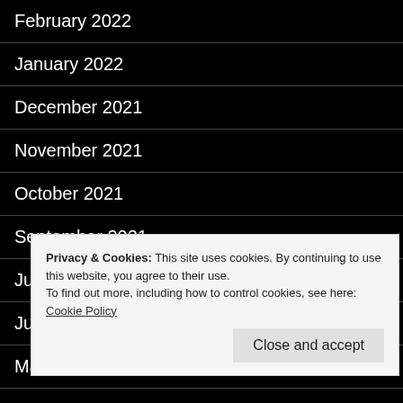February 2022
January 2022
December 2021
November 2021
October 2021
September 2021
July 2021
June 2021
May 2021
A…
M…
F…
January 2021
Privacy & Cookies: This site uses cookies. By continuing to use this website, you agree to their use.
To find out more, including how to control cookies, see here: Cookie Policy
Close and accept